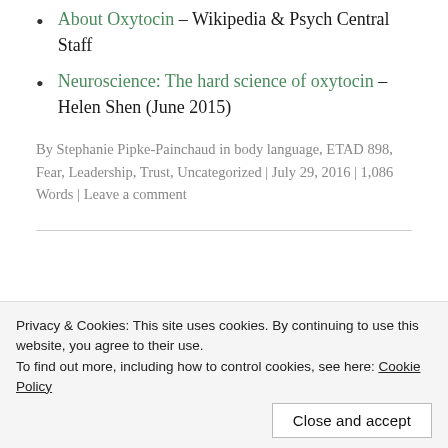About Oxytocin – Wikipedia & Psych Central Staff
Neuroscience: The hard science of oxytocin – Helen Shen (June 2015)
By Stephanie Pipke-Painchaud in body language, ETAD 898, Fear, Leadership, Trust, Uncategorized | July 29, 2016 | 1,086 Words | Leave a comment
Connections United
Privacy & Cookies: This site uses cookies. By continuing to use this website, you agree to their use.
To find out more, including how to control cookies, see here: Cookie Policy
Close and accept